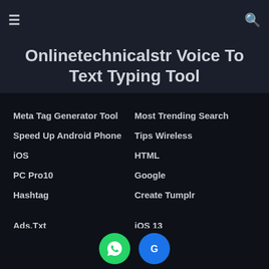≡  🔍
Onlinetechnicalstr Voice To Text Typing Tool
Meta Tag Generator Tool
Speed Up Android Phone
iOS
PC Pro10
Hashtag
Ads.Txt
WebHosting Comparsion
Navigation Links
PC Battery
Facebook Tips
Most Trending Search
Tips Wireless
HTML
Google
Create Tumplr
iOS 13
Laptop PC Security
Internet
Shopping
Blog Tips